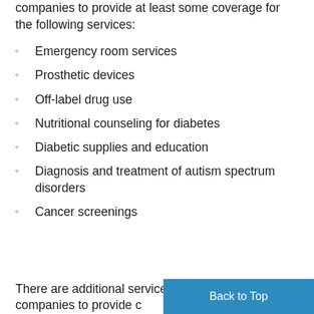companies to provide at least some coverage for the following services:
Emergency room services
Prosthetic devices
Off-label drug use
Nutritional counseling for diabetes
Diabetic supplies and education
Diagnosis and treatment of autism spectrum disorders
Cancer screenings
There are additional services that state law requires companies to provide c…